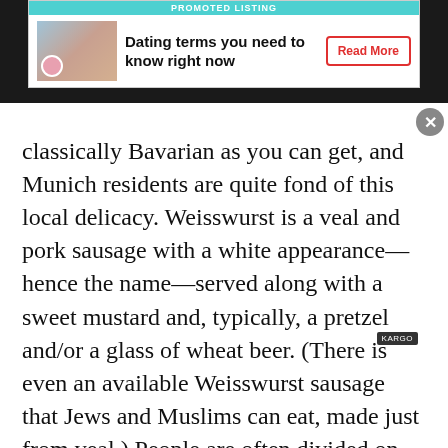[Figure (other): Promoted listing advertisement banner for 'Dating terms you need to know right now' with a Read More button]
classically Bavarian as you can get, and Munich residents are quite fond of this local delicacy. Weisswurst is a veal and pork sausage with a white appearance—hence the name—served along with a sweet mustard and, typically, a pretzel and/or a glass of wheat beer. (There is even an available Weisswurst sausage that Jews and Muslims can eat, made just from veal.) People are often divided on the best way to eat a Weisswurst; is it better to suck the meat out or to cut the meat out? You can decide for yourself—just don't make the faux pas of slicing it like a normal sausage. Another local tip: Make sure to have your Weisswurst before noon! This is because in the days before refrigeration, the sausages were freshly prepared and would go bad if left around in the afternoon. To this day, it's considered proper in Munich to have Weisswurst only